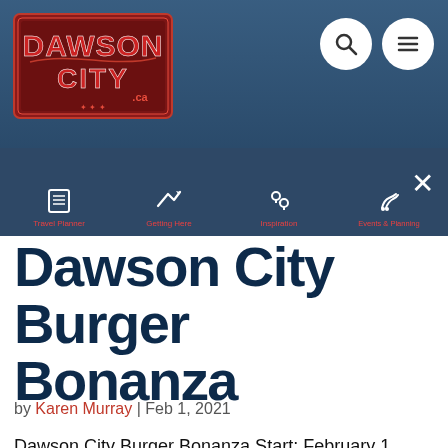[Figure (logo): Dawson City logo in red and white with decorative border]
[Figure (screenshot): Navigation bar with icons: Travel Planner, Getting Here, Inspiration, Events & Planning, and close X button]
Dawson City Burger Bonanza
by Karen Murray | Feb 1, 2021
Dawson City Burger Bonanza Start: February 1, 2021 @ 8:00 amEnd: February 7, 2021 @ 11:30 pmLocation Participating RestaurantsOrganizerKlondike Visitors